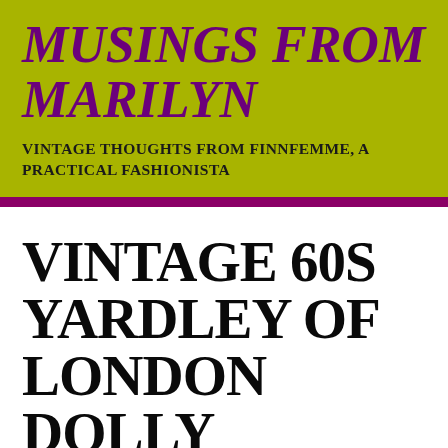MUSINGS FROM MARILYN
VINTAGE THOUGHTS FROM FINNFEMME, A PRACTICAL FASHIONISTA
VINTAGE 60S YARDLEY OF LONDON DOLLY